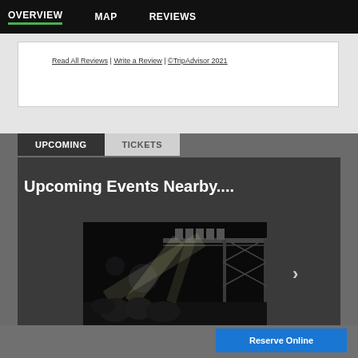OVERVIEW   MAP   REVIEWS
Read All Reviews | Write a Review | ©TripAdvisor 2021
UPCOMING   TICKETS
Upcoming Events Nearby....
[Figure (photo): Black and white photo of a concert stage with spotlights and rigging truss structure]
Reserve Online